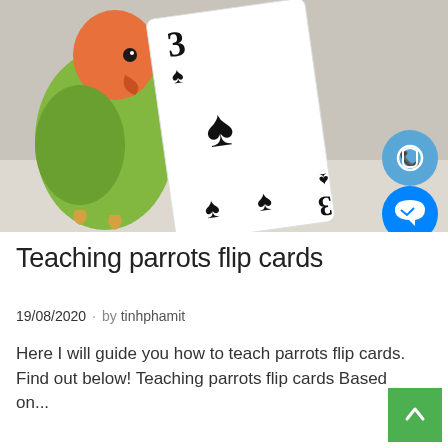[Figure (photo): A parrot (lovebird with orange head and green body) holding a three of spades playing card, with scattered items in the background. Social media icons (Viber, Messenger, map) overlay the right side.]
Teaching parrots flip cards
19/08/2020  · by tinhphamit
Here I will guide you how to teach parrots flip cards. Find out below! Teaching parrots flip cards Based on...